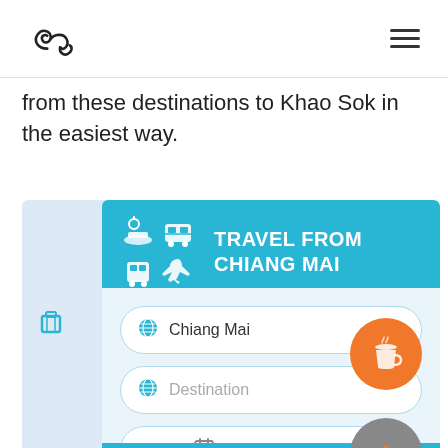logo and navigation menu
from these destinations to Khao Sok in the easiest way.
[Figure (screenshot): Travel booking widget with header 'TRAVEL FROM CHIANG MAI', transport icons (ferry, bus, train, plane), input fields for Chiang Mai origin, Destination, and date AUGUSTUS, 25, with orange coffee cup FAB and gray arrow-up FAB.]